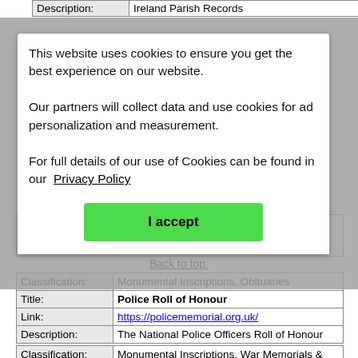| Description: | Ireland Parish Records |
This website uses cookies to ensure you get the best experience on our website.
Our partners will collect data and use cookies for ad personalization and measurement.
For full details of our use of Cookies can be found in our Privacy Policy
I accept
| Extra Info: | Includes references to Pinckey, Pinckine, Pinckney, Pincknye, Pincney, Pinkene, Pinken, Pinkeny, Pinkine, Pinkney. |
Back to top.
| Classification: | Monumental Inscriptions, Obituaries |
| Title: | Police Roll of Honour |
| Link: | https://policememorial.org.uk/ |
| Description: | The National Police Officers Roll of Honour |
| Classification: | Monumental Inscriptions, War Memorials & |